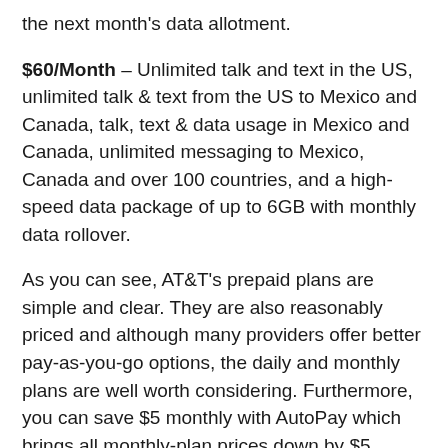the next month's data allotment.
$60/Month – Unlimited talk and text in the US, unlimited talk & text from the US to Mexico and Canada, talk, text & data usage in Mexico and Canada, unlimited messaging to Mexico, Canada and over 100 countries, and a high-speed data package of up to 6GB with monthly data rollover.
As you can see, AT&T's prepaid plans are simple and clear. They are also reasonably priced and although many providers offer better pay-as-you-go options, the daily and monthly plans are well worth considering. Furthermore, you can save $5 monthly with AutoPay which brings all monthly-plan prices down by $5. Impressive discounts are also available for multiple SIM purchases.